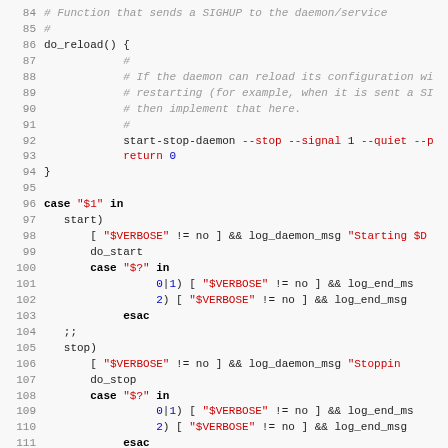[Figure (screenshot): Source code screenshot showing shell script lines 84-115 with syntax highlighting: comments in gray italic, keywords bold, strings in red, numbers in blue.]